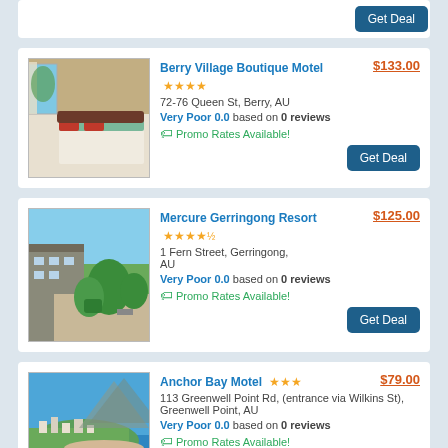[Figure (screenshot): Get Deal button at top of page, partial card]
Berry Village Boutique Motel ★★★★
72-76 Queen St, Berry, AU
Very Poor 0.0 based on 0 reviews
Promo Rates Available!
$133.00
[Figure (photo): Hotel room interior with bed and green bedding]
Mercure Gerringong Resort ★★★★½
1 Fern Street, Gerringong, AU
Very Poor 0.0 based on 0 reviews
Promo Rates Available!
$125.00
[Figure (photo): Outdoor garden/courtyard of resort]
Anchor Bay Motel ★★★
113 Greenwell Point Rd, (entrance via Wilkins St), Greenwell Point, AU
Very Poor 0.0 based on 0 reviews
Promo Rates Available!
$79.00
[Figure (photo): Aerial view of coastal town and bay]